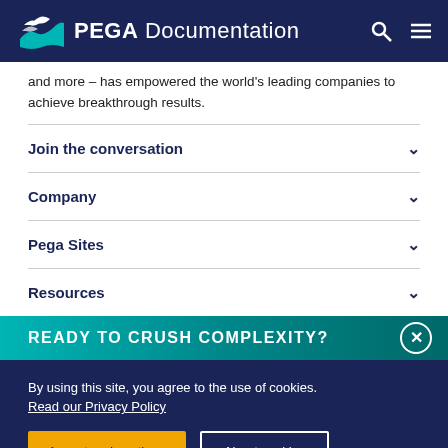PEGA Documentation
and more – has empowered the world's leading companies to achieve breakthrough results.
Join the conversation
Company
Pega Sites
Resources
READY TO CRUSH COMPLEXITY?
By using this site, you agree to the use of cookies. Read our Privacy Policy
Accept and continue
About cookies